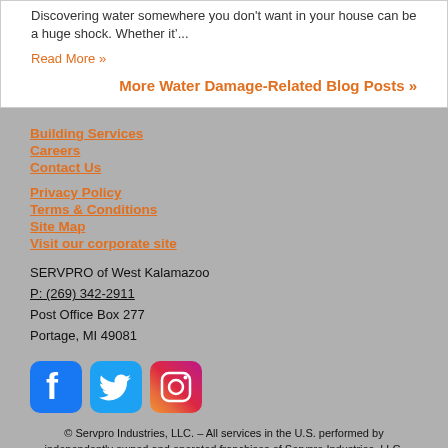Discovering water somewhere you don't want in your house can be a huge shock. Whether it&rsquo;...
Read More »
More Water Damage-Related Blog Posts »
Building Services
Careers
Contact Us
Privacy Policy
Terms & Conditions
Site Map
Visit our corporate site
SERVPRO of West Kalamazoo
P: (269) 342-2911
Post Office Box 277
Portage, MI 49081
[Figure (logo): Facebook, Twitter, and Instagram social media icons]
© Servpro Industries, LLC. – All services in the U.S. performed by independently owned and operated franchises of Servpro Industries, LLC.
© Servpro Industries (Canada) ULC – All services in Canada performed by independently owned and operated franchises of Servpro Industries (Canada) ULC.